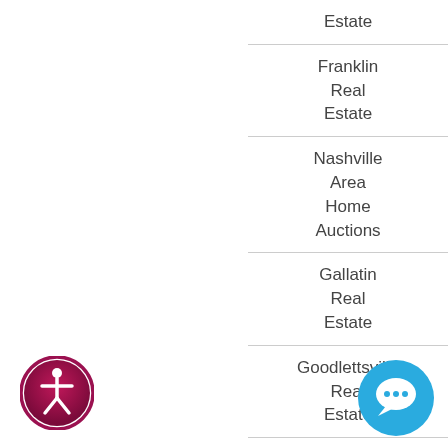Estate
Franklin Real Estate
Nashville Area Home Auctions
Gallatin Real Estate
Goodlettsville Real Estate
Governor Club Real Estate
[Figure (illustration): Accessibility icon - circular pink/maroon badge with white person figure]
[Figure (illustration): Chat/support icon - blue circle with white speech bubble]